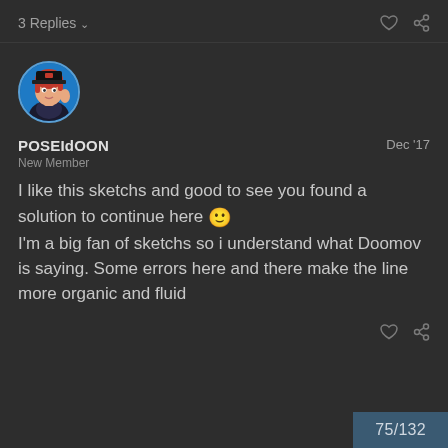3 Replies ∨
[Figure (illustration): Circular avatar of a pirate character with red hair, wearing a pirate hat, against a blue background]
POSEIdOON
New Member
Dec '17
I like this sketchs and good to see you found a solution to continue here 🙂 I'm a big fan of sketchs so i understand what Doomov is saying. Some errors here and there make the line more organic and fluid
75/132